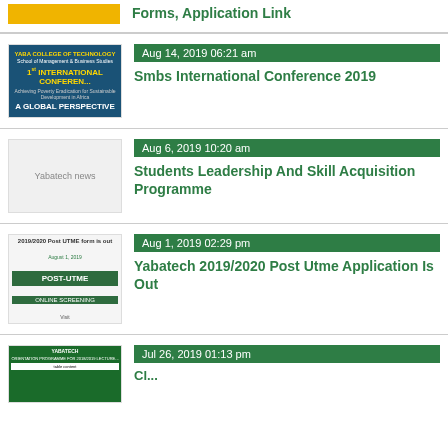[Figure (screenshot): Yellow/gold banner image thumbnail]
Forms, Application Link
[Figure (photo): Yaba College of Technology - School of Management & Business Studies - 1st International Conference - A Global Perspective banner]
Aug 14, 2019 06:21 am
Smbs International Conference 2019
[Figure (photo): Yabatech news placeholder image]
Aug 6, 2019 10:20 am
Students Leadership And Skill Acquisition Programme
[Figure (screenshot): 2019/2020 Post UTME form is out - POST-UTME ONLINE SCREENING flyer]
Aug 1, 2019 02:29 pm
Yabatech 2019/2020 Post Utme Application Is Out
[Figure (screenshot): Yabatech orientation programme for 2018/2019 lecture schedule green table]
Jul 26, 2019 01:13 pm